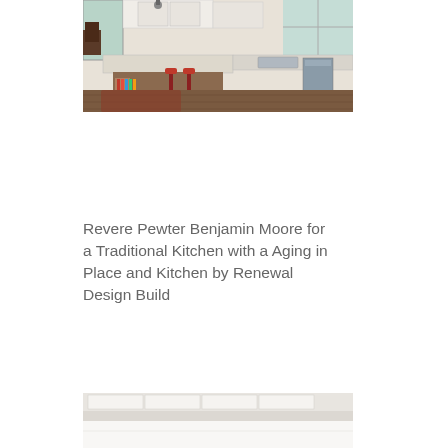[Figure (photo): Traditional kitchen interior with white cabinets, large kitchen island with marble countertop, red/burgundy bar stools, bookshelves built into the island, stainless steel dishwasher, and windows letting in natural light.]
Revere Pewter Benjamin Moore for a Traditional Kitchen with a Aging in Place and Kitchen by Renewal Design Build
[Figure (photo): Partial view of a kitchen interior, showing white walls and countertops.]